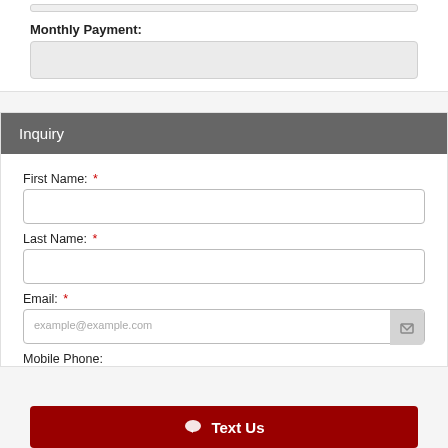Monthly Payment:
Inquiry
First Name: *
Last Name: *
Email: *
Mobile Phone:
Text Us